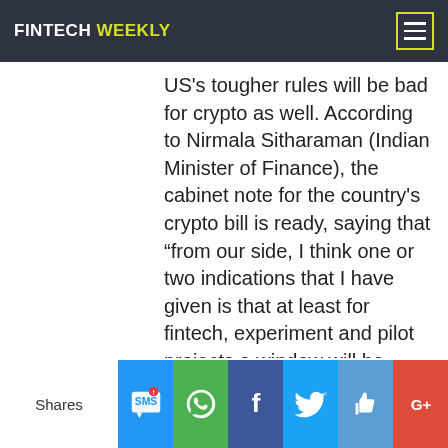FINTECH WEEKLY
US's tougher rules will be bad for crypto as well. According to Nirmala Sitharaman (Indian Minister of Finance), the cabinet note for the country's crypto bill is ready, saying that “from our side, I think one or two indications that I have given is that at least for fintech, experiment and pilot projects a window will be available”.